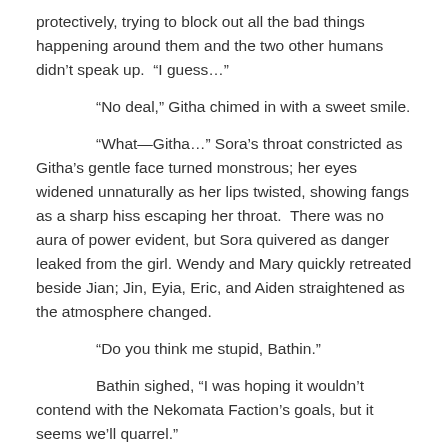protectively, trying to block out all the bad things happening around them and the two other humans didn't speak up.  “I guess…”
“No deal,” Githa chimed in with a sweet smile.
“What—Githa…” Sora’s throat constricted as Githa’s gentle face turned monstrous; her eyes widened unnaturally as her lips twisted, showing fangs as a sharp hiss escaping her throat.  There was no aura of power evident, but Sora quivered as danger leaked from the girl. Wendy and Mary quickly retreated beside Jian; Jin, Eyia, Eric, and Aiden straightened as the atmosphere changed.
“Do you think me stupid, Bathin.”
Bathin sighed, “I was hoping it wouldn’t contend with the Nekomata Faction’s goals, but it seems we’ll quarrel.”